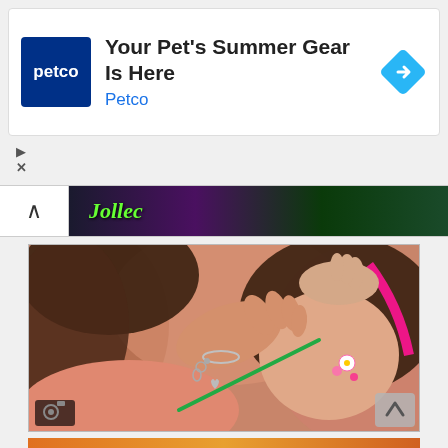[Figure (screenshot): Petco advertisement banner with logo, headline 'Your Pet's Summer Gear Is Here', subtext 'Petco', and a blue diamond arrow icon on the right. Play and close icons on the left below the banner.]
[Figure (screenshot): Collapsed video bar with chevron up button and a colorful thumbnail showing stylized green text on dark background.]
[Figure (photo): Photo of a woman doing face painting on a young girl with a pink headband. The woman wears a charm bracelet and is applying pink flower face paint with a green brush. Camera icon bottom-left, scroll arrow bottom-right.]
[Figure (photo): Partial bottom strip showing colorful food image (orange/warm tones).]